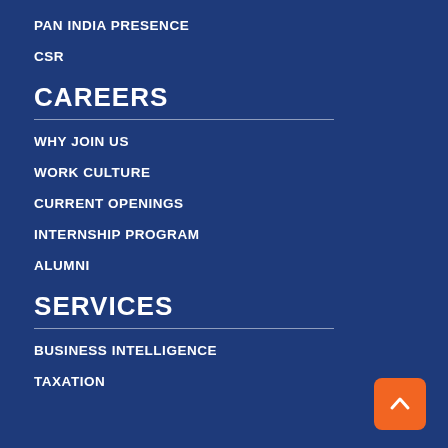PAN INDIA PRESENCE
CSR
CAREERS
WHY JOIN US
WORK CULTURE
CURRENT OPENINGS
INTERNSHIP PROGRAM
ALUMNI
SERVICES
BUSINESS INTELLIGENCE
TAXATION
[Figure (illustration): Orange rounded square button with a white upward chevron arrow (back to top button), positioned in the bottom right corner.]